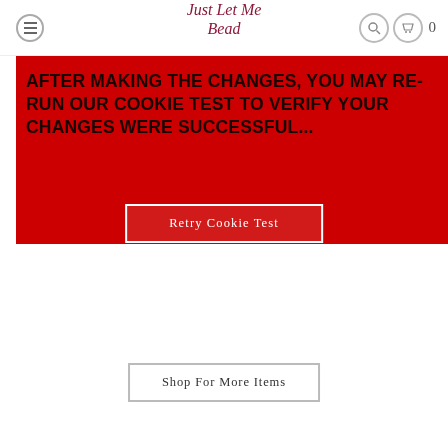Just Let Me Bead
AFTER MAKING THE CHANGES, YOU MAY RE-RUN OUR COOKIE TEST TO VERIFY YOUR CHANGES WERE SUCCESSFUL...
Retry Cookie Test
Shop For More Items